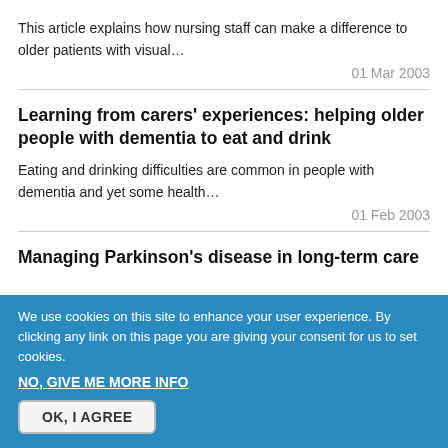This article explains how nursing staff can make a difference to older patients with visual…
01 Mar 2003
Learning from carers' experiences: helping older people with dementia to eat and drink
Eating and drinking difficulties are common in people with dementia and yet some health…
01 Feb 2003
Managing Parkinson's disease in long-term care
We use cookies on this site to enhance your user experience. By clicking any link on this page you are giving your consent for us to set cookies.
NO, GIVE ME MORE INFO
OK, I AGREE